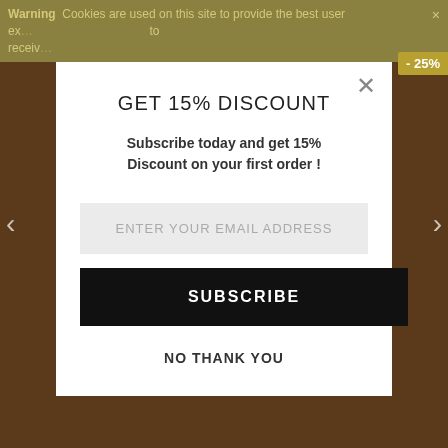Warning  Cookies are used on this site to provide the best user experience... to receive...
[Figure (screenshot): Modal popup overlay on a dark brown website background with product imagery]
GET 15% DISCOUNT
Subscribe today and get 15% Discount on your first order !
ENTER YOUR EMAIL ADDRESS
SUBSCRIBE
NO THANK YOU